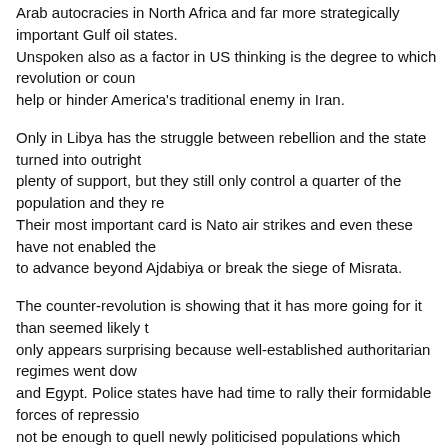Arab autocracies in North Africa and far more strategically important Gulf oil states. Unspoken also as a factor in US thinking is the degree to which revolution or counter-revolution would help or hinder America's traditional enemy in Iran.
Only in Libya has the struggle between rebellion and the state turned into outright civil war. The rebels have plenty of support, but they still only control a quarter of the population and they remain poorly organised. Their most important card is Nato air strikes and even these have not enabled the rebels to advance beyond Ajdabiya or break the siege of Misrata.
The counter-revolution is showing that it has more going for it than seemed likely at the start. This only appears surprising because well-established authoritarian regimes went down so fast in Tunisia and Egypt. Police states have had time to rally their formidable forces of repression, but these may not be enough to quell newly politicised populations which believe they can end autocratic rule.
By Patrick Cockburn
Comments (0)